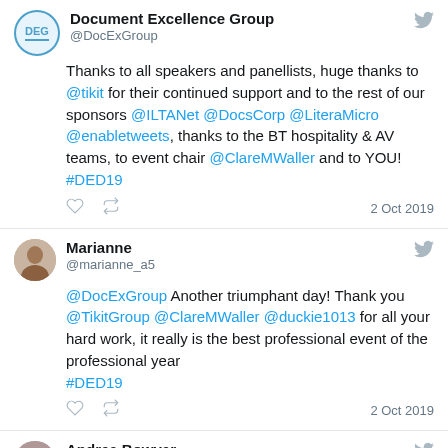[Figure (screenshot): Tweet from Document Excellence Group (@DocExGroup) with DEG logo avatar]
Document Excellence Group
@DocExGroup
Thanks to all speakers and panellists, huge thanks to @tikit for their continued support and to the rest of our sponsors @ILTANet @DocsCorp @LiteraMicro @enabletweets, thanks to the BT hospitality & AV teams, to event chair @ClareMWaller and to YOU! #DED19
2 Oct 2019
[Figure (screenshot): Tweet from Marianne (@marianne_a5) with profile photo avatar]
Marianne
@marianne_a5
@DocExGroup Another triumphant day! Thank you @TikitGroup @ClareMWaller @duckie1013 for all your hard work, it really is the best professional event of the professional year #DED19
2 Oct 2019
Andrea Bowyer